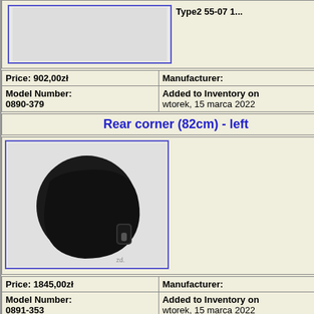[Figure (photo): Two product images at top (partially visible): a product image with blue border on left, and Type2 55-07 text visible on right]
| Price: 902,00zł | Manufacturer: |
| Model Number:
0890-379 | Added to Inventory on
wtorek, 15 marca 2022 |
Rear corner (82cm) - left
[Figure (photo): Black rear corner bumper part (82cm) - left side, shown against light background inside blue-bordered box]
| Price: 1845,00zł | Manufacturer: |
| Model Number:
0891-353 | Added to Inventory on
wtorek, 15 marca 2022 |
Rear corner (82cm) - right
[Figure (photo): Black rear corner bumper part (82cm) - right side, shown against light background inside blue-bordered box]